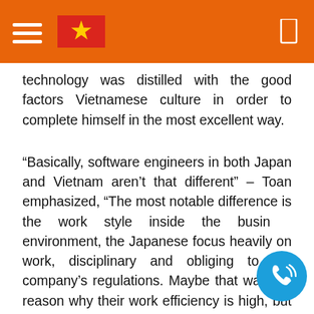Navigation header with hamburger menu, Vietnamese flag, and bookmark icon on orange background
technology was distilled with the good factors Vietnamese culture in order to complete himself in the most excellent way.
“Basically, software engineers in both Japan and Vietnam aren’t that different” – Toan emphasized, “The most notable difference is the work style inside the business environment, the Japanese focus heavily on work, disciplinary and obliging to the company’s regulations. Maybe that was the reason why their work efficiency is high, but they also put heavy pressure on themselves” – The software engineer state the difference between the position in two different countries.
When asked about whether cases like Toan was “brain drain” or not, the software engineer said: “With the